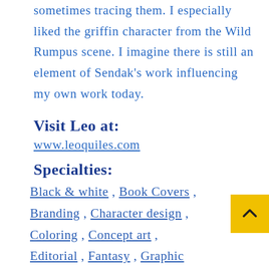sometimes tracing them. I especially liked the griffin character from the Wild Rumpus scene. I imagine there is still an element of Sendak's work influencing my own work today.
Visit Leo at:
www.leoquiles.com
Specialties:
Black & white , Book Covers , Branding , Character design , Coloring , Concept art , Editorial , Fantasy , Graphic novel interior art , Illustration , Indie comics , Inking , Middle